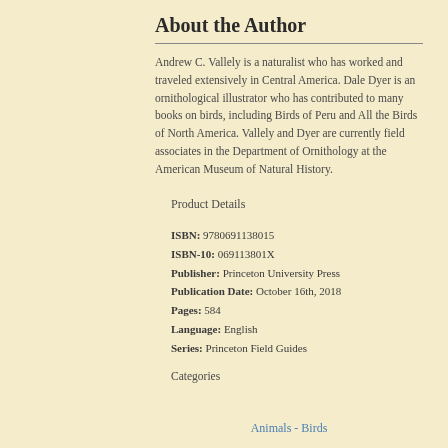About the Author
Andrew C. Vallely is a naturalist who has worked and traveled extensively in Central America. Dale Dyer is an ornithological illustrator who has contributed to many books on birds, including Birds of Peru and All the Birds of North America. Vallely and Dyer are currently field associates in the Department of Ornithology at the American Museum of Natural History.
Product Details
ISBN: 9780691138015
ISBN-10: 069113801X
Publisher: Princeton University Press
Publication Date: October 16th, 2018
Pages: 584
Language: English
Series: Princeton Field Guides
Categories
Animals - Birds